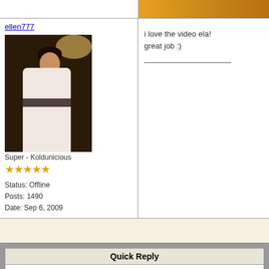[Figure (screenshot): Partial top row of a forum post with a cropped image on the right showing an orange/gold background]
ellen777
[Figure (photo): Avatar photo of a young woman in a white dress at what appears to be a formal event, dark background with warm lighting]
Super - Koldunicious
★★★★★
Status: Offline
Posts: 1490
Date: Sep 6, 2009
i love the video ela!
great job :)
Quick Reply
Please log in to post quick replies.
Koldun unofficial english forum -> Dmitry Koldun
-> Congratulations video -- I want your clips!